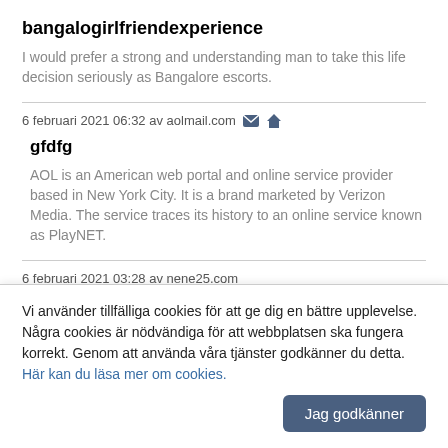bangalogirlfriendexperience
I would prefer a strong and understanding man to take this life decision seriously as Bangalore escorts.
6 februari 2021 06:32 av aolmail.com
gfdfg
AOL is an American web portal and online service provider based in New York City. It is a brand marketed by Verizon Media. The service traces its history to an online service known as PlayNET.
6 februari 2021 03:28 av nene25.com
nene25.com
Vi använder tillfälliga cookies för att ge dig en bättre upplevelse. Några cookies är nödvändiga för att webbplatsen ska fungera korrekt. Genom att använda våra tjänster godkänner du detta. Här kan du läsa mer om cookies.